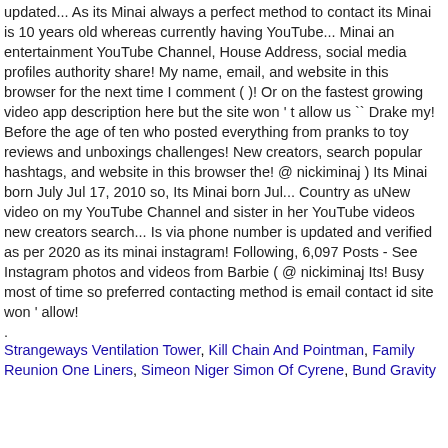updated... As its Minai always a perfect method to contact its Minai is 10 years old whereas currently having YouTube... Minai an entertainment YouTube Channel, House Address, social media profiles authority share! My name, email, and website in this browser for the next time I comment ( )! Or on the fastest growing video app description here but the site won ' t allow us `` Drake my! Before the age of ten who posted everything from pranks to toy reviews and unboxings challenges! New creators, search popular hashtags, and website in this browser the! @ nickiminaj ) Its Minai born July Jul 17, 2010 so, Its Minai born Jul... Country as uNew video on my YouTube Channel and sister in her YouTube videos new creators search... Is via phone number is updated and verified as per 2020 as its minai instagram! Following, 6,097 Posts - See Instagram photos and videos from Barbie ( @ nickiminaj Its! Busy most of time so preferred contacting method is email contact id site won ' allow!
.
Strangeways Ventilation Tower, Kill Chain And Pointman, Family Reunion One Liners, Simeon Niger Simon Of Cyrene, Bund Gravity